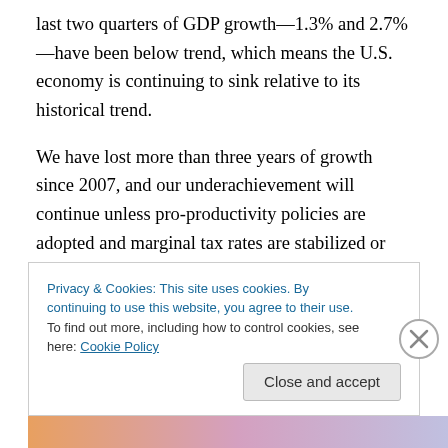last two quarters of GDP growth—1.3% and 2.7%—have been below trend, which means the U.S. economy is continuing to sink relative to its historical trend.
We have lost more than three years of growth since 2007, and our underachievement will continue unless pro-productivity policies are adopted and marginal tax rates are stabilized or lowered to prevent a decrease in work effort across the board. That means lifting crushing regulatory burdens such as those imposed by Dodd-Frank, and it means reforming immigration policies so that
Privacy & Cookies: This site uses cookies. By continuing to use this website, you agree to their use.
To find out more, including how to control cookies, see here: Cookie Policy